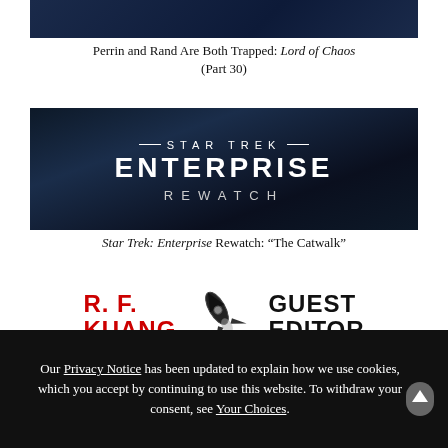[Figure (screenshot): Dark blue/navy banner image (top of page, partially cropped)]
Perrin and Rand Are Both Trapped: Lord of Chaos (Part 30)
[Figure (screenshot): Star Trek: Enterprise Rewatch banner with dark starfield background, showing text: — STAR TREK — ENTERPRISE REWATCH]
Star Trek: Enterprise Rewatch: "The Catwalk"
[Figure (logo): R. F. Kuang Guest Editor banner with rocket logo. R. F. KUANG in red bold text, GUEST EDITOR in black bold text, rocket ship illustration in center.]
The Ghost of Workshops Past: How Communism, Conservatism, and the Cold War Still Mold Our Paths Into SFF Writing
Our Privacy Notice has been updated to explain how we use cookies, which you accept by continuing to use this website. To withdraw your consent, see Your Choices.